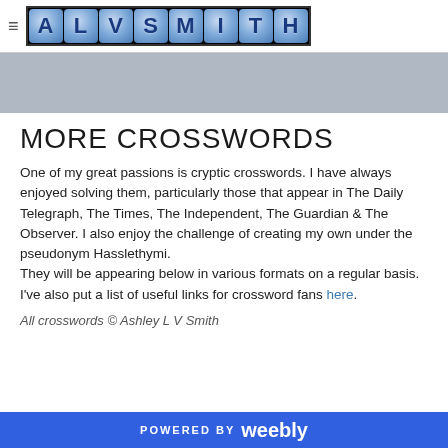ALVSMITH logo header
[Figure (illustration): Gray banner background]
MORE CROSSWORDS
One of my great passions is cryptic crosswords. I have always enjoyed solving them, particularly those that appear in The Daily Telegraph, The Times, The Independent, The Guardian & The Observer. I also enjoy the challenge of creating my own under the pseudonym Hasslethymi.
They will be appearing below in various formats on a regular basis.
I've also put a list of useful links for crossword fans here.
All crosswords © Ashley L V Smith
POWERED BY weebly